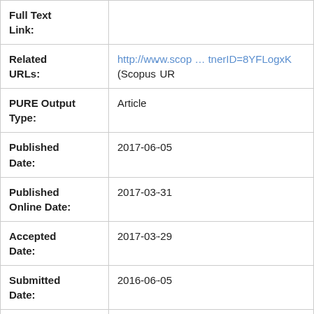| Field | Value |
| --- | --- |
| Full Text Link: |  |
| Related URLs: | http://www.scop … tnerID=8YFLogxK (Scopus URL) |
| PURE Output Type: | Article |
| Published Date: | 2017-06-05 |
| Published Online Date: | 2017-03-31 |
| Accepted Date: | 2017-03-29 |
| Submitted Date: | 2016-06-05 |
| Authors: | Bouxin, F.P.
Zhang, X.
Kings, I.N. |